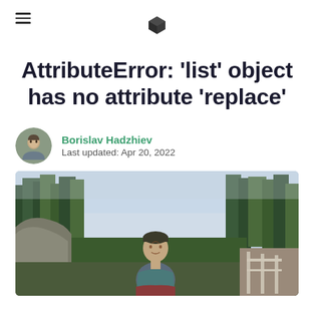AttributeError: 'list' object has no attribute 'replace'
Borislav Hadzhiev
Last updated: Apr 20, 2022
[Figure (photo): A young man in a teal t-shirt looking upward, standing in a forested outdoor setting with trees and a road in the background.]